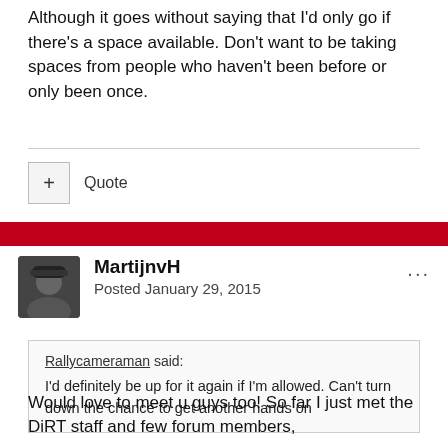Although it goes without saying that I'd only go if there's a space available. Don't want to be taking spaces from people who haven't been before or only been once.
+ Quote
MartijnvH
Posted January 29, 2015
Rallycameraman said:
I'd definitely be up for it again if I'm allowed. Can't turn down the chance to get another hands on
Would love to meet u guys too! So far I just met the DiRT staff and few forum members,